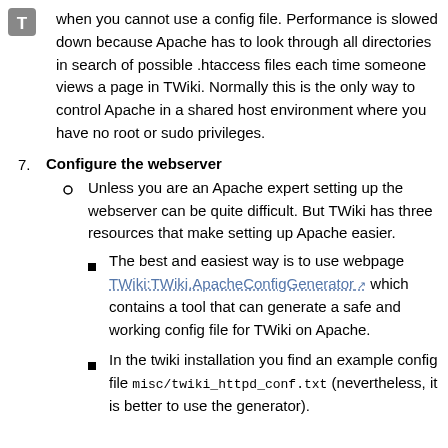[Figure (logo): Gray rounded square icon with white letter T]
when you cannot use a config file. Performance is slowed down because Apache has to look through all directories in search of possible .htaccess files each time someone views a page in TWiki. Normally this is the only way to control Apache in a shared host environment where you have no root or sudo privileges.
7. Configure the webserver
Unless you are an Apache expert setting up the webserver can be quite difficult. But TWiki has three resources that make setting up Apache easier.
The best and easiest way is to use webpage TWiki:TWiki.ApacheConfigGenerator which contains a tool that can generate a safe and working config file for TWiki on Apache.
In the twiki installation you find an example config file misc/twiki_httpd_conf.txt (nevertheless, it is better to use the generator).